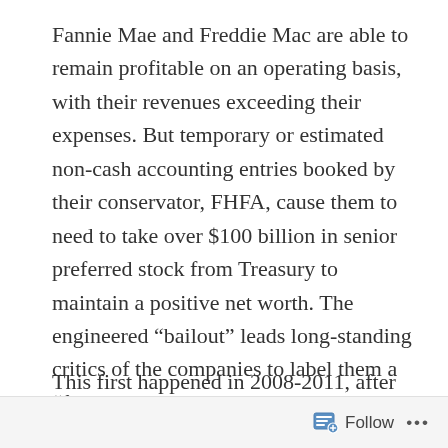Fannie Mae and Freddie Mac are able to remain profitable on an operating basis, with their revenues exceeding their expenses. But temporary or estimated non-cash accounting entries booked by their conservator, FHFA, cause them to need to take over $100 billion in senior preferred stock from Treasury to maintain a positive net worth. The engineered “bailout” leads long-standing critics of the companies to label them a “failed business model,” and insist they be replaced with some unspecified alternative secondary mortgage market financing mechanism that allegedly will be better and more reliable (but in reality will not be).
This first happened in 2008-2011, after Treasury